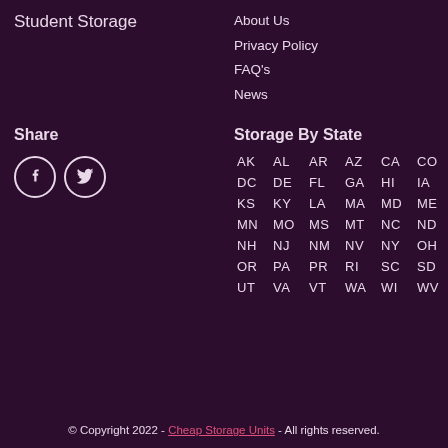Student Storage
About Us
Privacy Policy
FAQ's
News
Share
[Figure (illustration): Facebook and Twitter social media icon circles]
Storage By State
AK AL AR AZ CA CO CT DC DE FL GA HI IA ID IL IN KS KY LA MA MD ME MI MN MO MS MT NC ND NE NH NJ NM NV NY OH OK OR PA PR RI SC SD TN TX UT VA VT WA WI WV WY
© Copyright 2022 - Cheap Storage Units - All rights reserved.